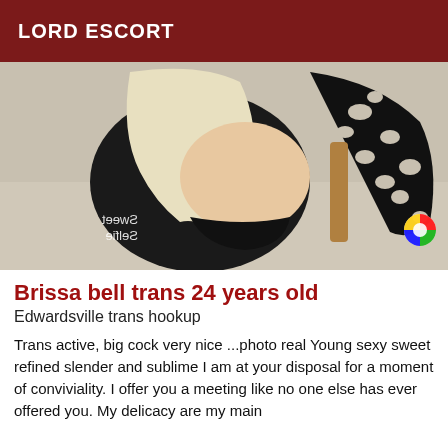LORD ESCORT
[Figure (photo): Photo of a blonde trans person wearing a black outfit with cutout sleeves, posing with back turned; Sweet Selfie watermark visible in bottom right corner]
Brissa bell trans 24 years old
Edwardsville trans hookup
Trans active, big cock very nice ...photo real Young sexy sweet refined slender and sublime I am at your disposal for a moment of conviviality. I offer you a meeting like no one else has ever offered you. My delicacy are my main